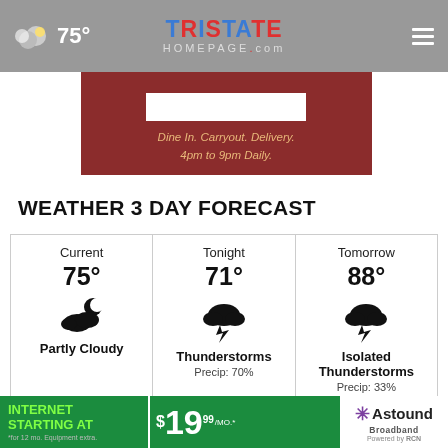75° Tristate Homepage.com
[Figure (screenshot): Restaurant ad banner: Dine In. Carryout. Delivery. 4pm to 9pm Daily. on dark red background]
WEATHER 3 DAY FORECAST
| Current | Tonight | Tomorrow |
| --- | --- | --- |
| 75° | 71° | 88° |
| Partly Cloudy icon | Thunderstorms icon | Isolated Thunderstorms icon |
| Partly Cloudy | Thunderstorms
Precip: 70% | Isolated Thunderstorms
Precip: 33% |
[Figure (screenshot): Fall Sports image banner with close button]
[Figure (screenshot): Astound Broadband Internet ad: Internet Starting At $19.99/mo. *for 12 mo. Equipment extra.]